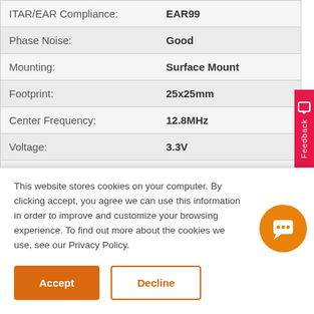| Property | Value |
| --- | --- |
| ITAR/EAR Compliance: | EAR99 |
| Phase Noise: | Good |
| Mounting: | Surface Mount |
| Footprint: | 25x25mm |
| Center Frequency: | 12.8MHz |
| Voltage: | 3.3V |
| EFC Range: | ±1.0 ppm |
| Frequency vs Temperature: | 5ppb |
| Op Temperature: | -40C to + 85C |
This website stores cookies on your computer. By clicking accept, you agree we can use this information in order to improve and customize your browsing experience. To find out more about the cookies we use, see our Privacy Policy.